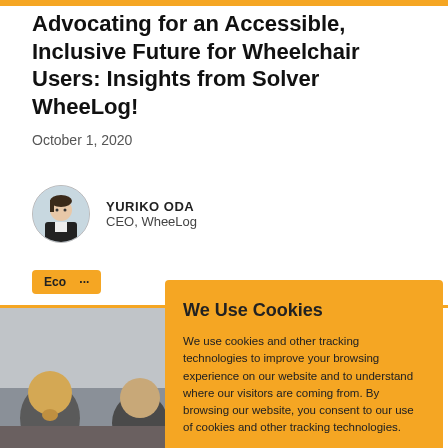Advocating for an Accessible, Inclusive Future for Wheelchair Users: Insights from Solver WheeLog!
October 1, 2020
[Figure (photo): Circular avatar photo of Yuriko Oda, a woman in professional attire]
YURIKO ODA
CEO, WheeLog
Economic Prosperity
[Figure (photo): Background photo partially visible showing people in a meeting/conference setting]
We Use Cookies
We use cookies and other tracking technologies to improve your browsing experience on our website and to understand where our visitors are coming from. By browsing our website, you consent to our use of cookies and other tracking technologies.
ACCEPT
REJECT